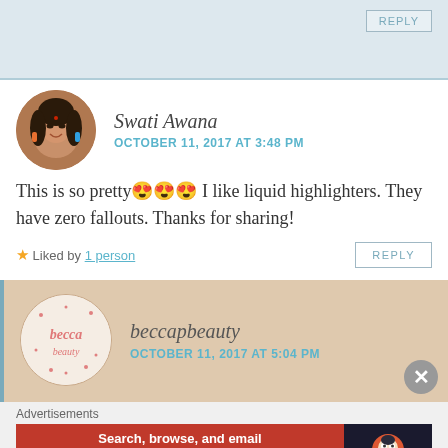[Figure (screenshot): Top portion of a blog comment section showing a partial reply button area with light blue background]
Swati Awana
OCTOBER 11, 2017 AT 3:48 PM
This is so pretty 😍😍😍 I like liquid highlighters. They have zero fallouts. Thanks for sharing!
★ Liked by 1 person
REPLY
beccapbeauty
OCTOBER 11, 2017 AT 5:04 PM
Advertisements
Search, browse, and email with more privacy. All in One Free App